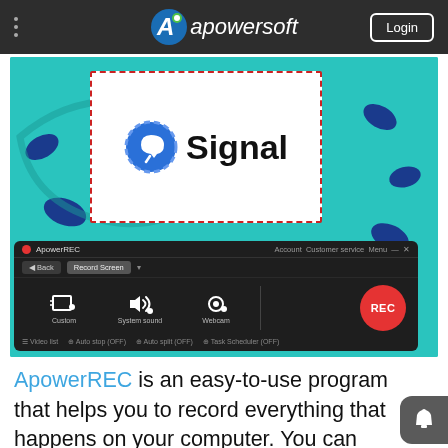Apowersoft — Login
[Figure (screenshot): Screenshot of ApowerREC software recording the Signal app logo on a teal background with decorative blue blobs. The ApowerREC control bar is shown at the bottom with Custom, System sound, Webcam options and a red REC button.]
ApowerREC is an easy-to-use program that helps you to record everything that happens on your computer. You can record Signal app video calls,